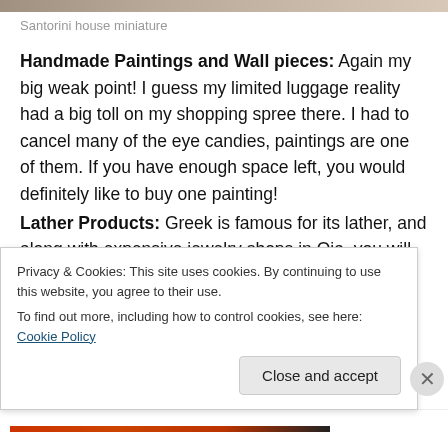[Figure (photo): Top strip showing partial image of what appears to be travel/tourism related photo]
Santorini house miniature
Handmade Paintings and Wall pieces: Again my big weak point! I guess my limited luggage reality had a big toll on my shopping spree there. I had to cancel many of the eye candies, paintings are one of them. If you have enough space left, you would definitely like to buy one painting!
Lather Products: Greek is famous for its lather, and along with expensive jewelry shops in Oia, you will find the cutest lather shops as well. I am not a leather fan, but if
Privacy & Cookies: This site uses cookies. By continuing to use this website, you agree to their use.
To find out more, including how to control cookies, see here: Cookie Policy